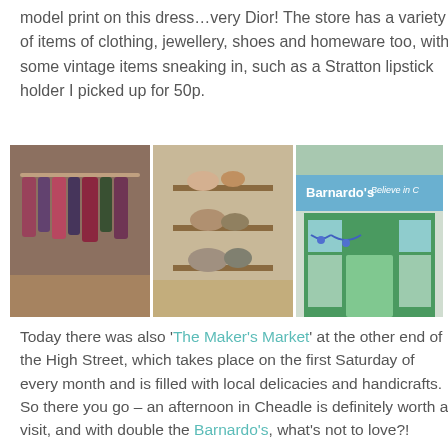model print on this dress…very Dior! The store has a variety of items of clothing, jewellery, shoes and homeware too, with some vintage items sneaking in, such as a Stratton lipstick holder I picked up for 50p.
[Figure (photo): Three photos side by side: left shows clothes hanging on rails in a charity shop; middle shows shelves with pottery and homeware items; right shows the exterior of a Barnardo's Believe in Children charity shop with green shopfront.]
Today there was also 'The Maker's Market' at the other end of the High Street, which takes place on the first Saturday of every month and is filled with local delicacies and handicrafts. So there you go – an afternoon in Cheadle is definitely worth a visit, and with double the Barnardo's, what's not to love?!